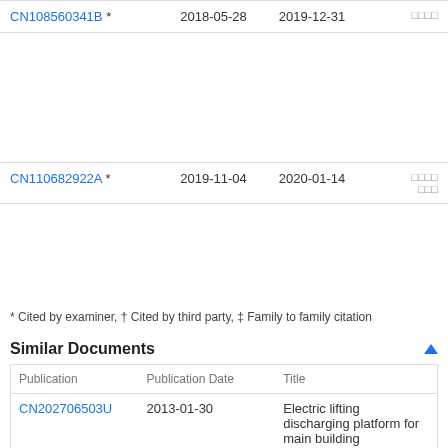| Publication | Publication Date | Publication Date |  |
| --- | --- | --- | --- |
| CN108560341B * | 2018-05-28 | 2019-12-31 | □□□□ |
| CN110682922A * | 2019-11-04 | 2020-01-14 | □□□□ □□□ |
* Cited by examiner, † Cited by third party, ‡ Family to family citation
Similar Documents
| Publication | Publication Date | Title |
| --- | --- | --- |
| CN202706503U | 2013-01-30 | Electric lifting discharging platform for main building construction |